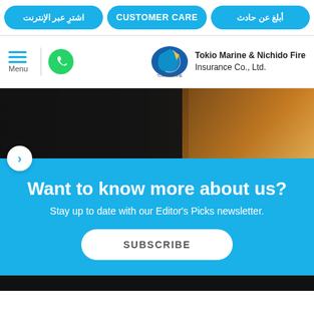اشترِ عبر الإنترنت | CUSTOMER CARE | أبلغ عن حادث
[Figure (logo): Menu icon, WhatsApp icon, Tokio Marine & Nichido Fire Insurance Co., Ltd. logo]
[Figure (photo): Hero image with dark and warm-toned background, partially showing a person in dark clothing]
Want to know more about us?
Stay up to date with our Editor's Picks newsletter.
SUBSCRIBE